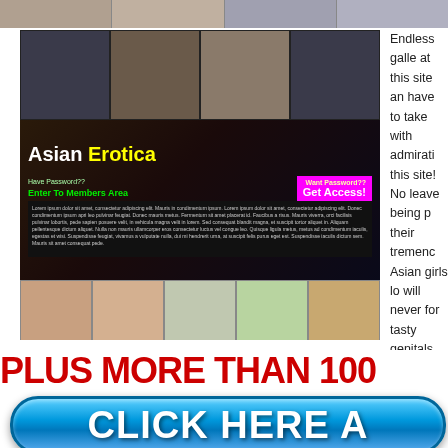[Figure (screenshot): Top image strip showing partial photos]
[Figure (screenshot): Asian Erotica website screenshot with photo collage, brand text 'Asian Erotica', 'Get Access!' button, lorem ipsum text, and bottom strip of portrait photos]
Endless galleries at this site and have to take with admiration this site! No leave being p their tremend Asian girls lo will never for tasty genitals
PLUS MORE THAN 100
[Figure (other): Blue rounded button with text CLICK HERE A]